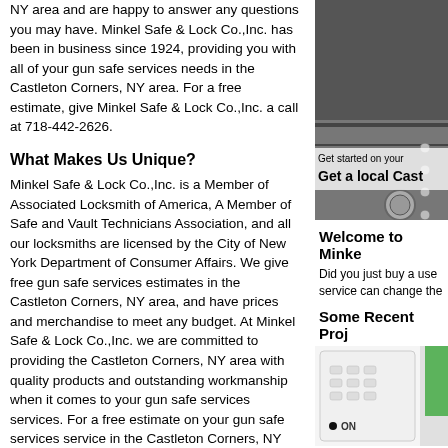NY area and are happy to answer any questions you may have. Minkel Safe & Lock Co.,Inc. has been in business since 1924, providing you with all of your gun safe services needs in the Castleton Corners, NY area. For a free estimate, give Minkel Safe & Lock Co.,Inc. a call at 718-442-2626.
What Makes Us Unique?
Minkel Safe & Lock Co.,Inc. is a Member of Associated Locksmith of America, A Member of Safe and Vault Technicians Association, and all our locksmiths are licensed by the City of New York Department of Consumer Affairs. We give free gun safe services estimates in the Castleton Corners, NY area, and have prices and merchandise to meet any budget. At Minkel Safe & Lock Co.,Inc. we are committed to providing the Castleton Corners, NY area with quality products and outstanding workmanship when it comes to your gun safe services services. For a free estimate on your gun safe services service in the Castleton Corners, NY area, give Minkel Safe & Lock Co.,Inc. a call at 718-442-2626.
Services
- Access Control Systems
- Door (Exterior) - Install or Repair
- Door (Interior) - Install or Repair
[Figure (photo): Close-up of a dark metal safe door with bolts and a dial/wheel mechanism visible]
Get started on your
Get a local Cast
Welcome to Minke
Did you just buy a use service can change the
Some Recent Proj
[Figure (photo): Close-up of a white electronic keypad/lock device with ON indicator and green display]